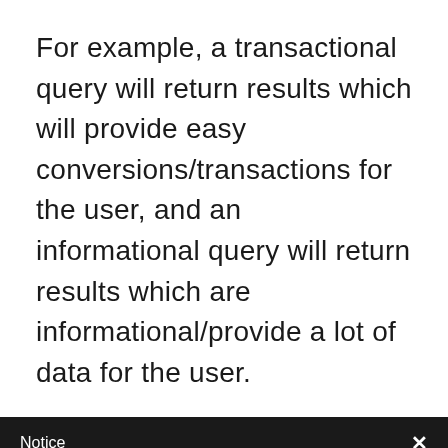For example, a transactional query will return results which will provide easy conversions/transactions for the user, and an informational query will return results which are informational/provide a lot of data for the user.
Notice
We and selected third parties use cookies or similar technologies for technical purposes and, with your consent, for other purposes as specified in the cookie policy. Denying consent may make related features unavailable.
You can consent to the use of such technologies by closing this notice, by scrolling this page, by interacting with any link or button outside of this notice or by continuing to browse otherwise.